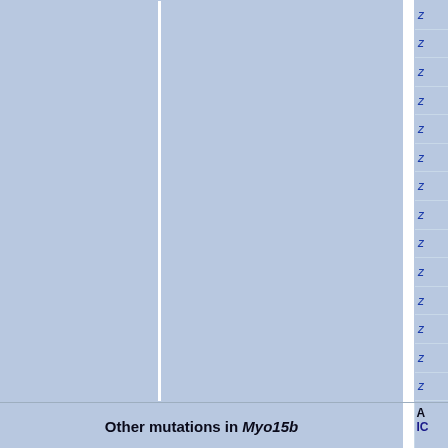[Figure (other): Table fragment showing a cropped view of a scientific/medical data table. Left portion shows a large blue-grey cell area (content cropped/not visible). A white vertical divider separates it from a right column containing 14 blue italic 'Z' characters stacked in separate cells with horizontal dividers.]
| Other mutations in Myo15b | A |
| --- | --- |
|  | IC |